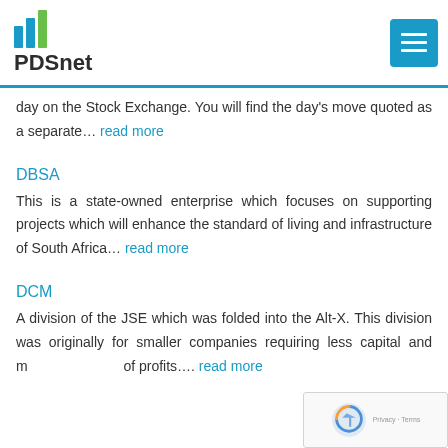PDSnet
day on the Stock Exchange. You will find the day's move quoted as a separate... read more
DBSA
This is a state-owned enterprise which focuses on supporting projects which will enhance the standard of living and infrastructure of South Africa... read more
DCM
A division of the JSE which was folded into the Alt-X. This division was originally for smaller companies requiring less capital and more... of profits.... read more